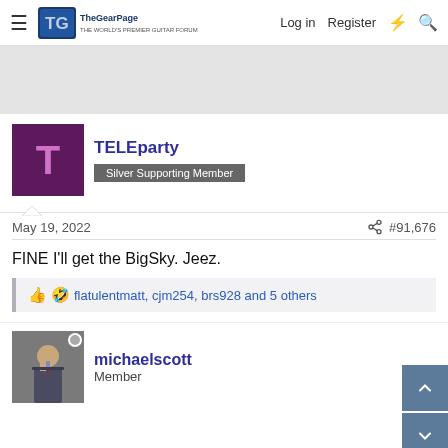The Gear Page — Log in  Register
[Figure (other): Gray advertisement banner area]
TELEparty
Silver Supporting Member
May 19, 2022  #91,676
FINE I'll get the BigSky. Jeez.
flatulentmatt, cjm254, brs928 and 5 others
michaelscott
Member